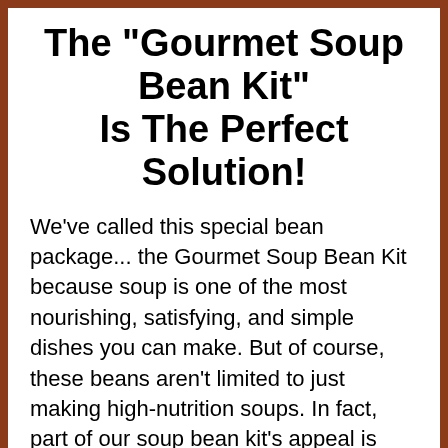The "Gourmet Soup Bean Kit" Is The Perfect Solution!
We've called this special bean package... the Gourmet Soup Bean Kit because soup is one of the most nourishing, satisfying, and simple dishes you can make. But of course, these beans aren't limited to just making high-nutrition soups. In fact, part of our soup bean kit's appeal is that beans are very versatile.